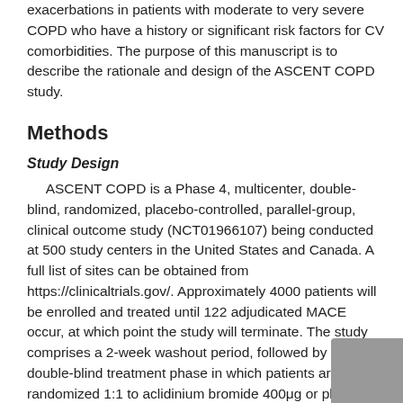exacerbations in patients with moderate to very severe COPD who have a history or significant risk factors for CV comorbidities. The purpose of this manuscript is to describe the rationale and design of the ASCENT COPD study.
Methods
Study Design
ASCENT COPD is a Phase 4, multicenter, double-blind, randomized, placebo-controlled, parallel-group, clinical outcome study (NCT01966107) being conducted at 500 study centers in the United States and Canada. A full list of sites can be obtained from https://clinicaltrials.gov/. Approximately 4000 patients will be enrolled and treated until 122 adjudicated MACE occur, at which point the study will terminate. The study comprises a 2-week washout period, followed by a double-blind treatment phase in which patients are randomized 1:1 to aclidinium bromide 400μg or placebo twice daily, administered via a multidose dry powder inhaler (Genuairᵔᴹ/Pressair®ᵃ)for up to 36 months (Figure 1).